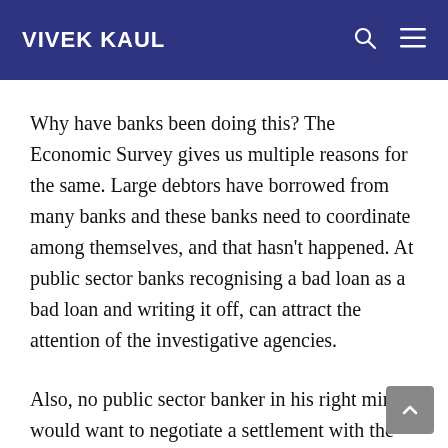VIVEK KAUL
Why have banks been doing this? The Economic Survey gives us multiple reasons for the same. Large debtors have borrowed from many banks and these banks need to coordinate among themselves, and that hasn't happened. At public sector banks recognising a bad loan as a bad loan and writing it off, can attract the attention of the investigative agencies.
Also, no public sector banker in his right mind would want to negotiate a settlement with the borrower who may not be able to repay the